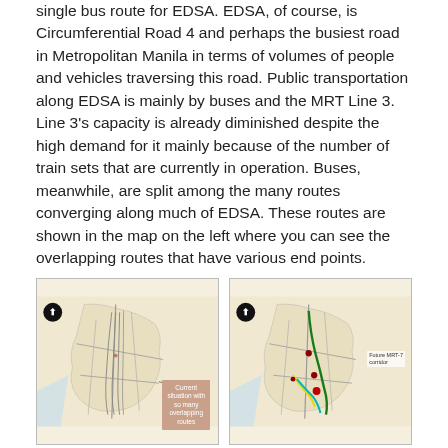single bus route for EDSA. EDSA, of course, is Circumferential Road 4 and perhaps the busiest road in Metropolitan Manila in terms of volumes of people and vehicles traversing this road. Public transportation along EDSA is mainly by buses and the MRT Line 3. Line 3's capacity is already diminished despite the high demand for it mainly because of the number of train sets that are currently in operation. Buses, meanwhile, are split among the many routes converging along much of EDSA. These routes are shown in the map on the left where you can see the overlapping routes that have various end points.
[Figure (map): Left map showing current situation with many overlapping bus routes along EDSA in Metropolitan Manila. Black compass rose in upper left. Beige/tan background with road network. Pink label box reading 'Current situation with so many overlapping routes'.]
[Figure (map): Right map showing proposed future MRT-7 corridor along EDSA in Metropolitan Manila. Black compass rose in upper left. Beige/tan background with road network. Colored route lines (dark red, green, yellow, cyan/teal). Label 'Future MRT-7 corridor' on right side. Red dots marking stations/stops.]